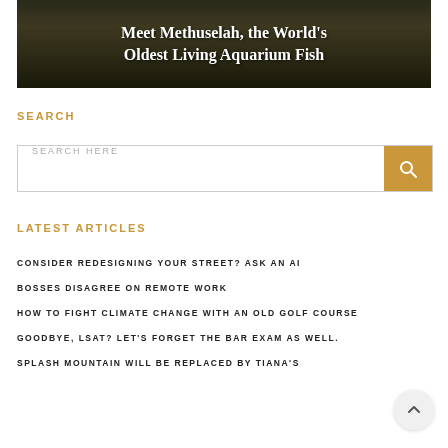[Figure (photo): Hero image with dark landscape background and article title text overlay reading 'Meet Methuselah, the World's Oldest Living Aquarium Fish']
SEARCH
SEARCH HERE
LATEST ARTICLES
CONSIDER REDESIGNING YOUR STREET? ASK AN AI
BOSSES DISAGREE ON REMOTE WORK
HOW TO FIGHT CLIMATE CHANGE WITH AN OLD GOLF COURSE
GOODBYE, LSAT? LET'S FORGET THE BAR EXAM AS WELL.
SPLASH MOUNTAIN WILL BE REPLACED BY TIANA'S